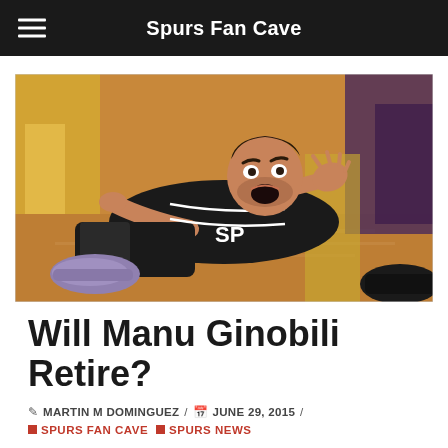Spurs Fan Cave
[Figure (photo): Basketball player in San Antonio Spurs black jersey lying on the floor with hands raised, mouth open in appeal, during a game against the Lakers]
Will Manu Ginobili Retire?
MARTIN M DOMINGUEZ / JUNE 29, 2015 / SPURS FAN CAVE / SPURS NEWS